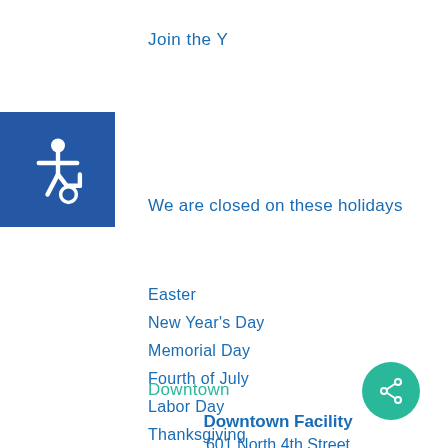Join the Y
[Figure (illustration): Blue square with white wheelchair accessibility icon]
We are closed on these holidays
Easter
New Year's Day
Memorial Day
Fourth of July
Labor Day
Thanksgiving
Christmas
Downtown
Downtown Facility
601 North 4th Street
[Figure (illustration): Teal circular share button with share icon]